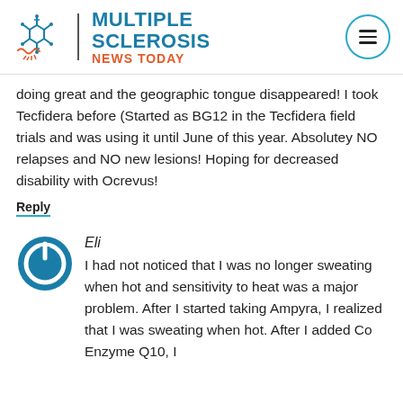[Figure (logo): Multiple Sclerosis News Today logo with snowflake/nerve cell icon and navigation menu button]
doing great and the geographic tongue disappeared! I took Tecfidera before (Started as BG12 in the Tecfidera field trials and was using it until June of this year. Absolutey NO relapses and NO new lesions! Hoping for decreased disability with Ocrevus!
Reply
Eli
I had not noticed that I was no longer sweating when hot and sensitivity to heat was a major problem. After I started taking Ampyra, I realized that I was sweating when hot. After I added Co Enzyme Q10, I